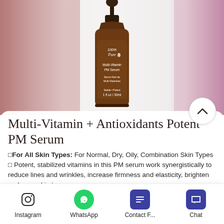[Figure (photo): A dark amber glass dropper bottle of 100% Pure Multi-Vitamin PM Serum (1 fl oz / 30ml) shown against a blurred pink floral background]
Multi-Vitamin + Antioxidants Potent PM Serum
□For All Skin Types: For Normal, Dry, Oily, Combination Skin Types
□ Potent, stabilized vitamins in this PM serum work synergistically to reduce lines and wrinkles, increase firmness and elasticity, brighten and even skin tone.
Instagram  WhatsApp  Contact F...  Chat